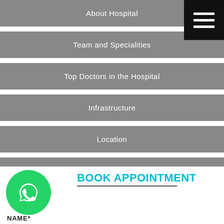About Hospital
Team and Specialities
Top Doctors in the Hospital
Infrastructure
Location
Address
Similar Hospitals
BOOK APPOINTMENT
NAME*